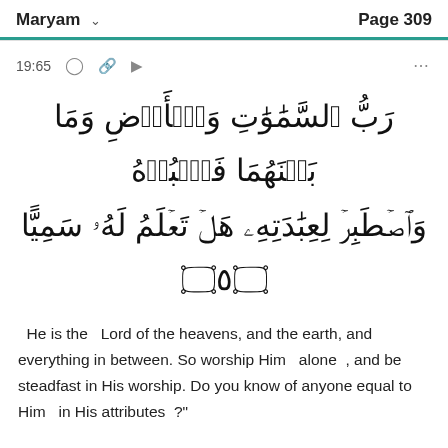Maryam   Page 309
19:65
رَبُّ ٱلسَّمَٰوَٰتِ وَٱلۡأَرۡضِ وَمَا بَيۡنَهُمَا فَٱعۡبُدۡهُ وَٱصۡطَبِرۡ لِعِبَٰدَتِهِۦ هَلۡ تَعۡلَمُ لَهُۥ سَمِيًّا ٦٥
He is the Lord of the heavens, and the earth, and everything in between. So worship Him alone , and be steadfast in His worship. Do you know of anyone equal to Him in His attributes ?"